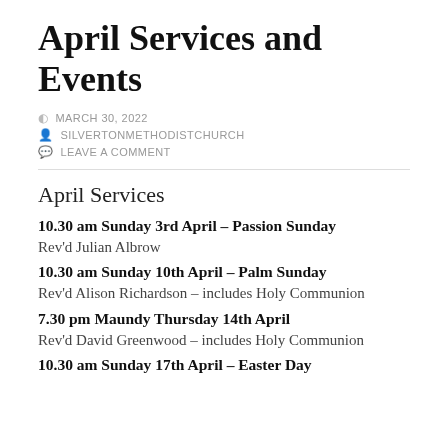April Services and Events
MARCH 30, 2022
SILVERTONMETHODISTCHURCH
LEAVE A COMMENT
April Services
10.30 am Sunday 3rd April – Passion Sunday
Rev'd Julian Albrow
10.30 am Sunday 10th April – Palm Sunday
Rev'd Alison Richardson – includes Holy Communion
7.30 pm Maundy Thursday 14th April
Rev'd David Greenwood – includes Holy Communion
10.30 am Sunday 17th April – Easter Day